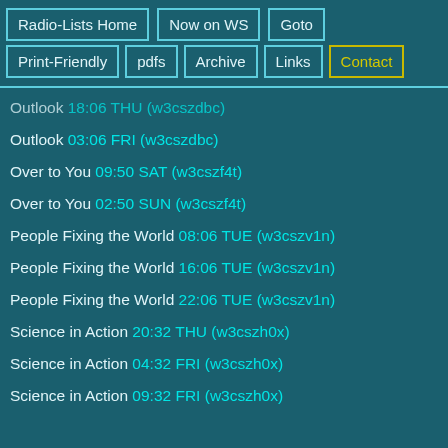Radio-Lists Home
Now on WS
Goto
Print-Friendly
pdfs
Archive
Links
Contact
Outlook 18:06 THU (w3cszdbc)
Outlook 03:06 FRI (w3cszdbc)
Over to You 09:50 SAT (w3cszf4t)
Over to You 02:50 SUN (w3cszf4t)
People Fixing the World 08:06 TUE (w3cszv1n)
People Fixing the World 16:06 TUE (w3cszv1n)
People Fixing the World 22:06 TUE (w3cszv1n)
Science in Action 20:32 THU (w3cszh0x)
Science in Action 04:32 FRI (w3cszh0x)
Science in Action 09:32 FRI (w3cszh0x)